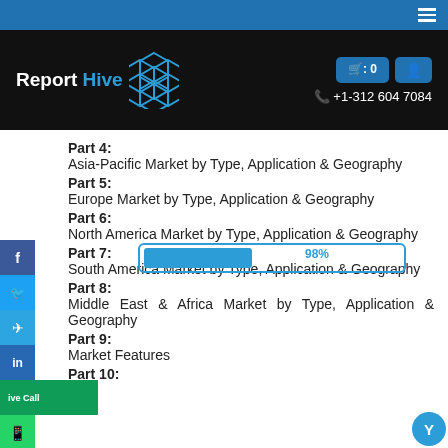Report Hive — +1-312 604 7084
Part 4:
Asia-Pacific Market by Type, Application & Geography
Part 5:
Europe Market by Type, Application & Geography
Part 6:
North America Market by Type, Application & Geography
Part 7:
South America Market by Type, Application & Geography
Part 8:
Middle East & Africa Market by Type, Application & Geography
Part 9:
Market Features
Part 10: